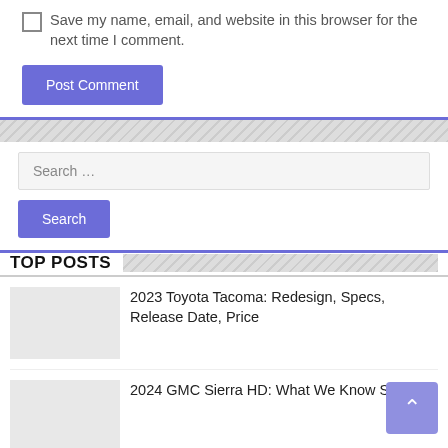Save my name, email, and website in this browser for the next time I comment.
Post Comment
Search …
Search
TOP POSTS
2023 Toyota Tacoma: Redesign, Specs, Release Date, Price
2024 GMC Sierra HD: What We Know So Far
2022 Toyota Tacoma Diesel: Price, Release